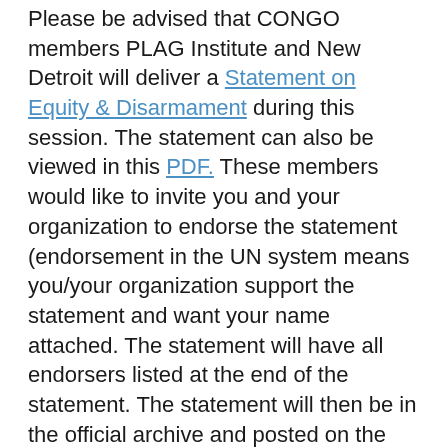Please be advised that CONGO members PLAG Institute and New Detroit will deliver a Statement on Equity & Disarmament during this session. The statement can also be viewed in this PDF. These members would like to invite you and your organization to endorse the statement (endorsement in the UN system means you/your organization support the statement and want your name attached. The statement will have all endorsers listed at the end of the statement. The statement will then be in the official archive and posted on the UN NPT Conference page.)
If you would like to endorse the statement, please fill out this form: